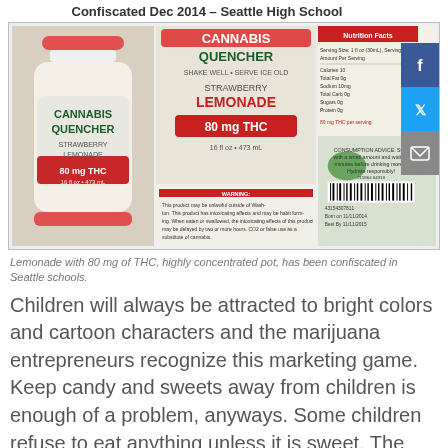Confiscated Dec 2014 – Seattle High School
[Figure (photo): Collage of Cannabis Quencher Strawberry Lemonade 80 mg THC drink bottles and product labels confiscated from a Seattle high school in December 2014. Shows full bottle, close-up of label, warning text, and barcode/date labels.]
Lemonade with 80 mg of THC, highly concentrated pot, has been confiscated in Seattle schools.
Children will always be attracted to bright colors and cartoon characters and the marijuana entrepreneurs recognize this marketing game.  Keep candy and sweets away from children is enough of a problem, anyways. Some children refuse to eat anything unless it is sweet. The marijuana industry knows this and has targeted children, since adults are not usually attracted to the same bright colors.